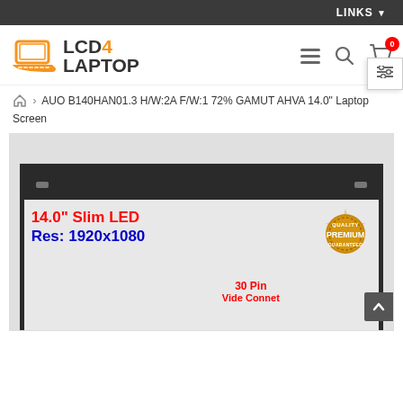LINKS
[Figure (logo): LCD4Laptop logo with orange laptop icon and bold text LCD4LAPTOP]
AUO B140HAN01.3 H/W:2A F/W:1 72% GAMUT AHVA 14.0" Laptop Screen
[Figure (photo): Product image of a 14.0" Slim LED laptop screen with resolution 1920x1080, 30 Pin connector, and a Premium Quality badge]